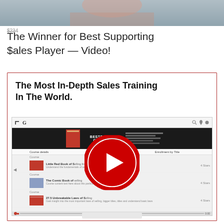[Figure (photo): Top cropped photo showing person's shoulders/background, blurred]
The Winner for Best Supporting Sales Player — Video!
[Figure (screenshot): Screenshot of a course platform (Udemy-style) showing 'The Most In-Depth Sales Training In The World.' heading with a video player overlay showing a red play button and course listing rows below]
The Most In-Depth Sales Training In The World.